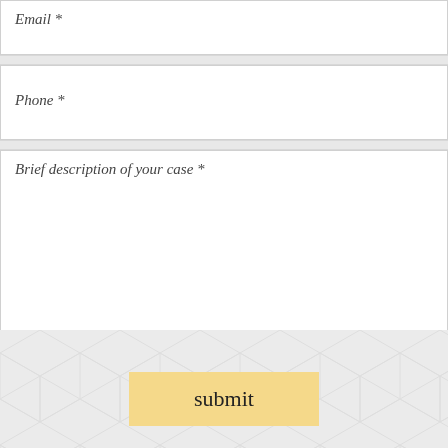Email *
Phone *
Brief description of your case *
submit